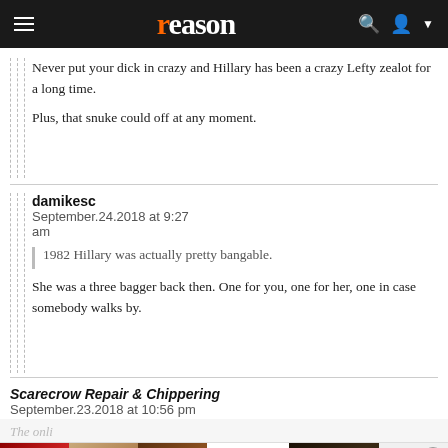reason
Never put your dick in crazy and Hillary has been a crazy Lefty zealot for a long time.

Plus, that snuke could off at any moment.
damikesc
September.24.2018 at 9:27 am
1982 Hillary was actually pretty bangable.
She was a three bagger back then. One for you, one for her, one in case somebody walks by.
Scarecrow Repair & Chippering
September.23.2018 at 10:56 pm
[Figure (screenshot): ULTA Beauty advertisement banner with makeup imagery]
Tony
September.23.2018 at 10:58 pm